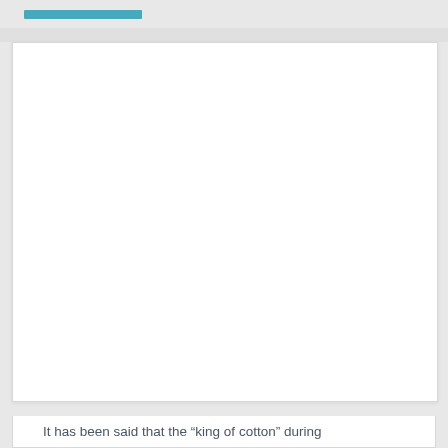[Figure (photo): Large white blank image area taking up most of the page]
It has been said that the “king of cotton” during